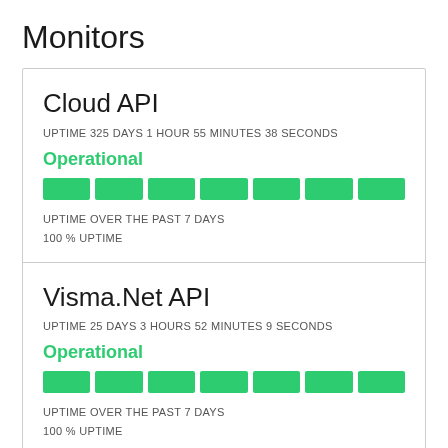Monitors
Cloud API
UPTIME 325 DAYS 1 HOUR 55 MINUTES 38 SECONDS
Operational
[Figure (infographic): 7 green bar segments representing 100% uptime over the past 7 days]
UPTIME OVER THE PAST 7 DAYS
100 % UPTIME
Visma.Net API
UPTIME 25 DAYS 3 HOURS 52 MINUTES 9 SECONDS
Operational
[Figure (infographic): 7 green bar segments representing 100% uptime over the past 7 days]
UPTIME OVER THE PAST 7 DAYS
100 % UPTIME